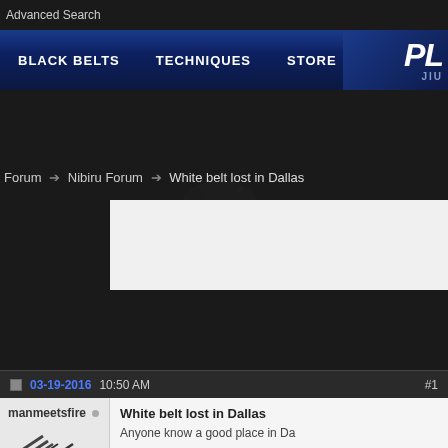Advanced Search
BLACK BELTS  TECHNIQUES  STORE  EVENTS  PL JIU
Forum → Nibiru Forum → White belt lost in Dallas
03-19-2016 10:50 AM  #1
manmeetsfire
White belt lost in Dallas
Anyone know a good place in Da